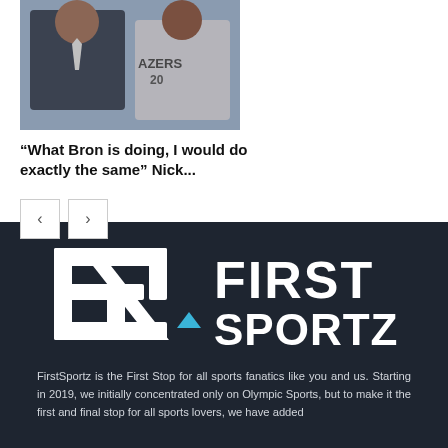[Figure (photo): Two people; one in a suit and tie, another in a basketball jersey. Caption overlay: LA Lakers]
LA Lakers
“What Bron is doing, I would do exactly the same” Nick...
[Figure (logo): FirstSportz logo: FS symbol with blue triangle and FIRST SPORTZ text in white on dark background]
FirstSportz is the First Stop for all sports fanatics like you and us. Starting in 2019, we initially concentrated only on Olympic Sports, but to make it the first and final stop for all sports lovers, we have added